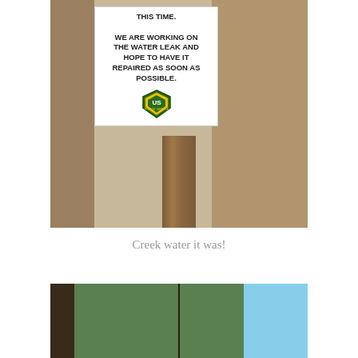[Figure (photo): Outdoor photograph of a US Forest Service sign on a wooden post reading 'WE ARE WORKING ON THE WATER LEAK AND HOPE TO HAVE IT REPAIRED AS SOON AS POSSIBLE.' with the USFS shield logo, surrounded by forest floor and rocks.]
Creek water it was!
[Figure (photo): Outdoor photograph looking up at tall pine/fir trees against a blue sky, with tree trunks visible and dense canopy overhead.]